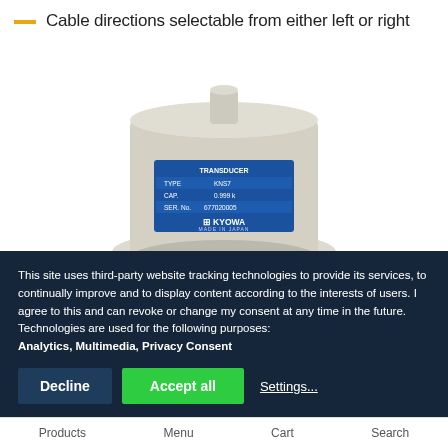Cable directions selectable from either left or right
[Figure (photo): Kyowa brand transducer/load cell device, cylindrical shape with beige/cream housing, blue label showing TYPE, CAP., SER.No., and KYOWA MADE IN JAPAN text, mounted on a wider circular base]
This site uses third-party website tracking technologies to provide its services, to continually improve and to display content according to the interests of users. I agree to this and can revoke or change my consent at any time in the future. Technologies are used for the following purposes: Analytics, Multimedia, Privacy Consent
Products   Menu   Cart   Search